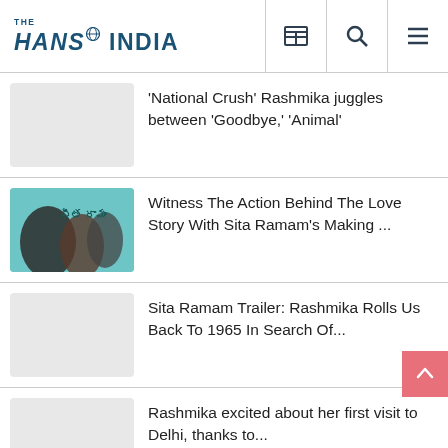THE HANS INDIA
'National Crush' Rashmika juggles between 'Goodbye,' 'Animal'
Witness The Action Behind The Love Story With Sita Ramam's Making ...
Sita Ramam Trailer: Rashmika Rolls Us Back To 1965 In Search Of...
Rashmika excited about her first visit to Delhi, thanks to...
Allu Arjun's Pushpa: The Rise Breaks One